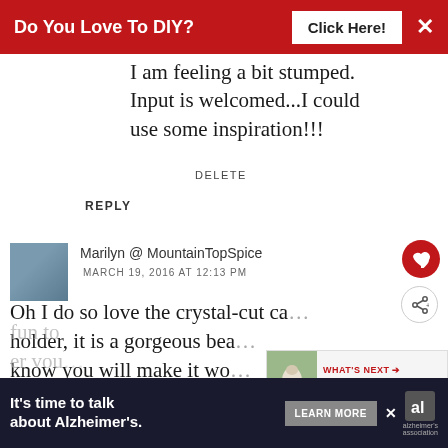Do You Love To DIY? Click Here! ×
I am feeling a bit stumped. Input is welcomed...I could use some inspiration!!!
DELETE
REPLY
Marilyn @ MountainTopSpice
MARCH 19, 2016 AT 12:13 PM
Oh I do so love the crystal-cut ca... holder, it is a gorgeous bea... know you will make it wo... treasured gift from your sweet fun to er vou...
[Figure (screenshot): What's Next widget showing 'Decorating For Fall: The...' with a small thumbnail image]
It's time to talk about Alzheimer's. LEARN MORE